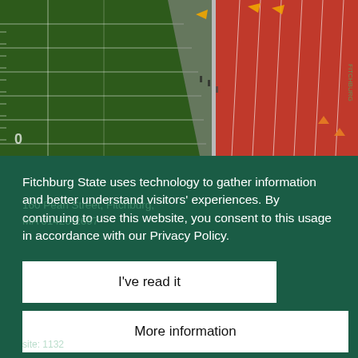[Figure (photo): Aerial view of a football field with green turf and yard line markings on the left, and a red running track with multiple lanes on the right. People and equipment are visible along the sidelines.]
Fitchburg State uses technology to gather information and better understand visitors' experiences. By continuing to use this website, you consent to this usage in accordance with our Privacy Policy.
I've read it
More information